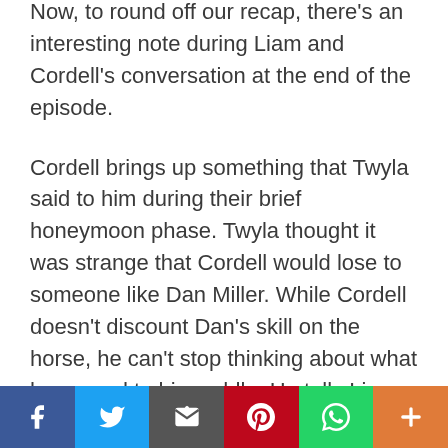Now, to round off our recap, there's an interesting note during Liam and Cordell's conversation at the end of the episode.
Cordell brings up something that Twyla said to him during their brief honeymoon phase. Twyla thought it was strange that Cordell would lose to someone like Dan Miller. While Cordell doesn't discount Dan's skill on the horse, he can't stop thinking about what happened to his saddle. He tells Liam about the rider he saw earlier at the auction, who fell off his horse because the saddle he was using wasn't properly secured. Bringing it back to the race, he says it's damn near impossible that his father, who's been working with leather and saddles for decades, would make
[Figure (other): Social media sharing bar with Facebook, Twitter, Email, Pinterest, WhatsApp, and More buttons]